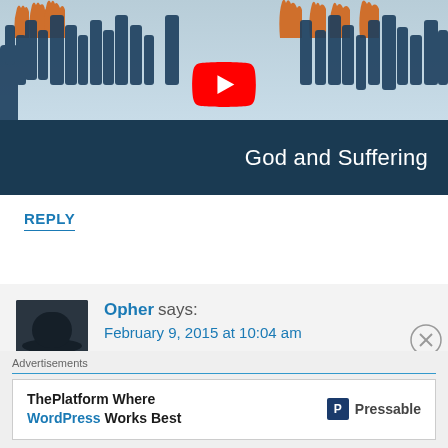[Figure (screenshot): YouTube video thumbnail showing 'God and Suffering' with raised hands silhouettes and YouTube play button]
REPLY
Opher says:
February 9, 2015 at 10:04 am
[Figure (other): Advertisement banner: ThePlatform Where WordPress Works Best - Pressable]